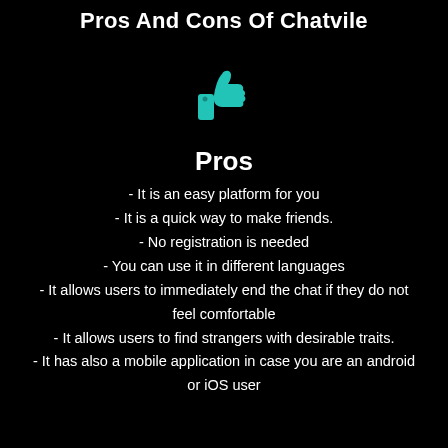Pros And Cons Of Chatvile
[Figure (illustration): Teal thumbs-up emoji icon]
Pros
- It is an easy platform for you
- It is a quick way to make friends.
- No registration is needed
- You can use it in different languages
- It allows users to immediately end the chat if they do not feel comfortable
- It allows users to find strangers with desirable traits.
- It has also a mobile application in case you are an android or iOS user